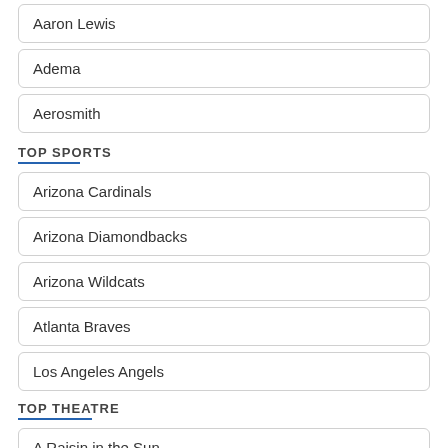Aaron Lewis
Adema
Aerosmith
TOP SPORTS
Arizona Cardinals
Arizona Diamondbacks
Arizona Wildcats
Atlanta Braves
Los Angeles Angels
TOP THEATRE
A Raisin in the Sun
Aida
Beauty and The Beast
Blue Man Group